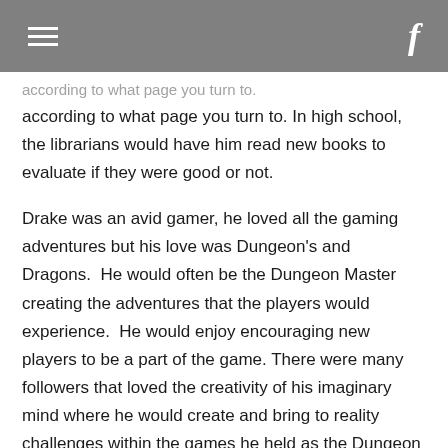according to what page you turn to. In high school, the librarians would have him read new books to evaluate if they were good or not.
Drake was an avid gamer, he loved all the gaming adventures but his love was Dungeon's and Dragons.  He would often be the Dungeon Master creating the adventures that the players would experience.  He would enjoy encouraging new players to be a part of the game.  There were many followers that loved the creativity of his imaginary mind where he would create and bring to reality challenges within the games he held as the Dungeon Master.